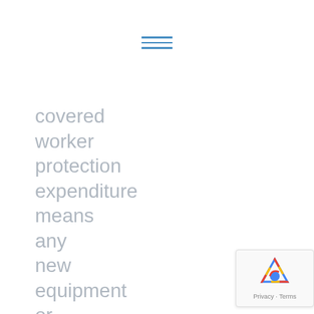[Figure (other): Hamburger menu icon with three horizontal blue lines]
covered
worker
protection
expenditure
means
any
new
equipment
or
repairs
to
[Figure (other): reCAPTCHA badge with Google logo and Privacy - Terms text]